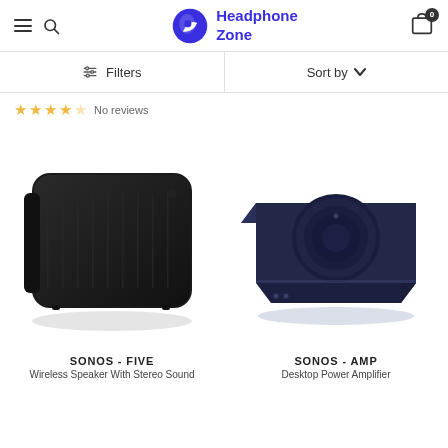Headphone Zone
Filters  Sort by
★★★★☆ No reviews
[Figure (photo): Black Sonos Five wireless speaker, large rectangular box with rounded corners]
SONOS - FIVE
Wireless Speaker With Stereo Sound
[Figure (photo): Dark navy Sonos Amp desktop power amplifier, flat square box with circular control knob on top]
SONOS - AMP
Desktop Power Amplifier